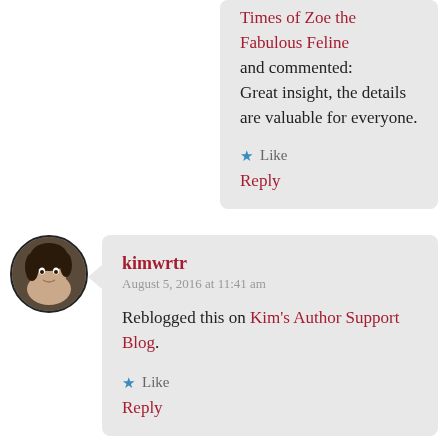Times of Zoe the Fabulous Feline and commented: Great insight, the details are valuable for everyone.
Like
Reply
kimwrtr
August 5, 2016 at 11:41 am
Reblogged this on Kim's Author Support Blog.
Like
Reply